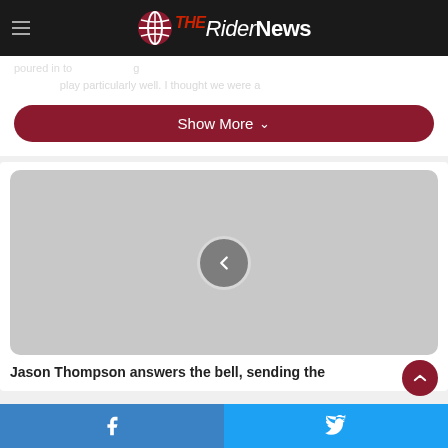The Rider News
poured in to ... play particularly well. I thought we were a
Show More
[Figure (photo): Gray placeholder image with a left-arrow navigation circle button in the center]
Jason Thompson answers the bell, sending the